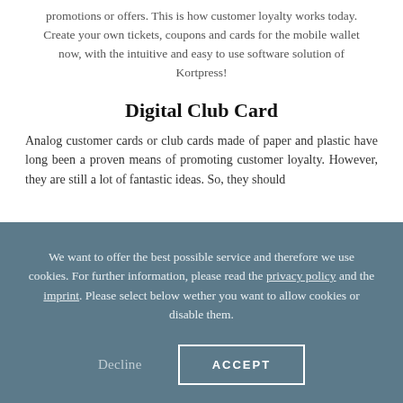promotions or offers. This is how customer loyalty works today. Create your own tickets, coupons and cards for the mobile wallet now, with the intuitive and easy to use software solution of Kortpress!
Digital Club Card
Analog customer cards or club cards made of paper and plastic have long been a proven means of promoting customer loyalty. However, they are still a lot of potential here. So, they should...
We want to offer the best possible service and therefore we use cookies. For further information, please read the privacy policy and the imprint. Please select below wether you want to allow cookies or disable them.
Decline
ACCEPT